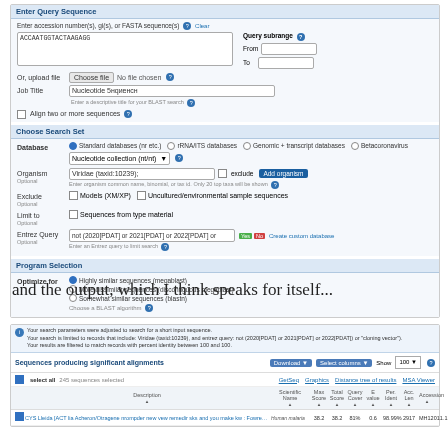[Figure (screenshot): NCBI BLAST web interface showing Enter Query Sequence section with sequence input ACCAATGGTACTAAGAGG, Job Title field showing 'Nucleotide 5нqиeнcн', Choose Search Set section with database options (Standard databases selected, Nucleotide collection nt/nt), Organism field showing 'Viridae (taxid:10239)', Exclude section, Limit to section, Entrez Query field, and Program Selection section with Highly similar sequences (megablast) selected]
and the output, which I think speaks for itself...
[Figure (screenshot): NCBI BLAST results page showing info banner about search parameters adjusted for short input sequence, Sequences producing significant alignments table with Download, Select columns, Show options, select all row with 245 sequences selected, GetSeq/Grapics/Distance tree/MSA Viewer links, column headers, and one result row with a sequence alignment link, scientific name, and scores including 38.2, 38.2, 81%, 0.6, 98.99%, 2917, MH12011.1]